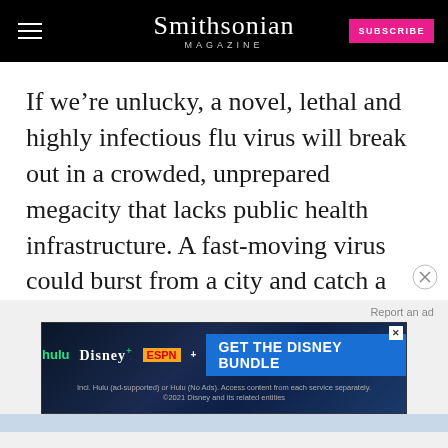Smithsonian Magazine | SUBSCRIBE
If we’re unlucky, a novel, lethal and highly infectious flu virus will break out in a crowded, unprepared megacity that lacks public health infrastructure. A fast-moving virus could burst from a city and catch a ride with international travelers before public health officials realize what is happening.
[Figure (screenshot): Disney Bundle advertisement banner showing Hulu, Disney+, and ESPN+ logos with 'GET THE DISNEY BUNDLE' call to action button]